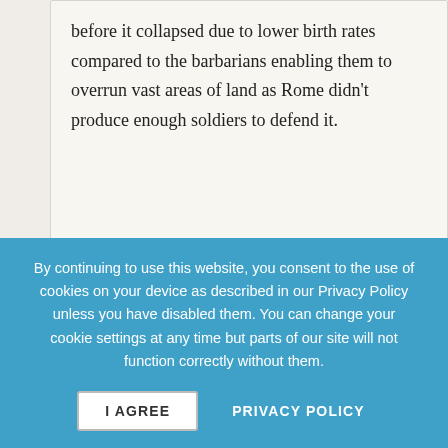before it collapsed due to lower birth rates compared to the barbarians enabling them to overrun vast areas of land as Rome didn't produce enough soldiers to defend it.
Write a reply
Matthew • April 13th, 2013 •
A european army would include Russia.
By continuing to use this website, you consent to the use of cookies on your device as described in our Privacy Policy unless you have disabled them. You can change your cookie settings at any time but parts of our site will not function correctly without them.
I AGREE
PRIVACY POLICY